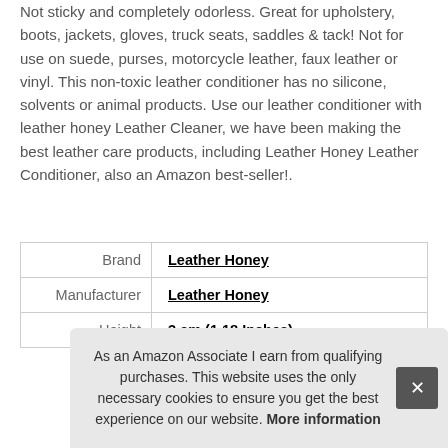Not sticky and completely odorless. Great for upholstery, boots, jackets, gloves, truck seats, saddles & tack! Not for use on suede, purses, motorcycle leather, faux leather or vinyl. This non-toxic leather conditioner has no silicone, solvents or animal products. Use our leather conditioner with leather honey Leather Cleaner, we have been making the best leather care products, including Leather Honey Leather Conditioner, also an Amazon best-seller!.
|  |  |
| --- | --- |
| Brand | Leather Honey |
| Manufacturer | Leather Honey |
| Height | 3 cm (1.18 Inches) |
As an Amazon Associate I earn from qualifying purchases. This website uses the only necessary cookies to ensure you get the best experience on our website. More information